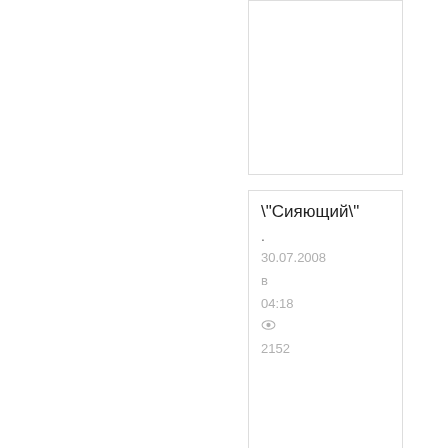"Сияющий"
.
30.07.2008
в
04:18
👁
2152
"Утро на исследовательской станции."